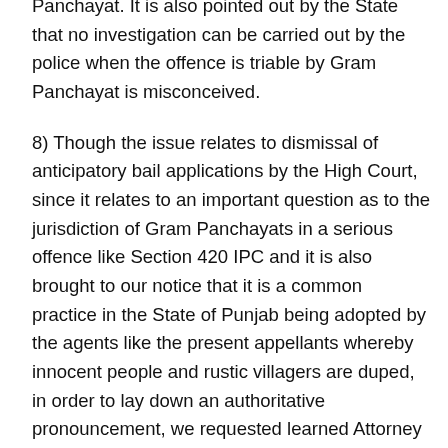Panchayat. It is also pointed out by the State that no investigation can be carried out by the police when the offence is triable by Gram Panchayat is misconceived.
8) Though the issue relates to dismissal of anticipatory bail applications by the High Court, since it relates to an important question as to the jurisdiction of Gram Panchayats in a serious offence like Section 420 IPC and it is also brought to our notice that it is a common practice in the State of Punjab being adopted by the agents like the present appellants whereby innocent people and rustic villagers are duped, in order to lay down an authoritative pronouncement, we requested learned Attorney General for India for assistance. At the time of hearing, Mr. A.S. Chandhiok, learned ASG assisted us by taking us through the objects and reasons, relevant provisions of the Punjab Panchayati Raj Act, 1994 as well as provisions of the IPC.